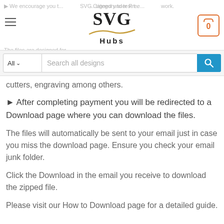SVG Hubs — navigation header with search bar
cutters, engraving among others.
► After completing payment you will be redirected to a Download page where you can download the files.
The files will automatically be sent to your email just in case you miss the download page. Ensure you check your email junk folder.
Click the Download in the email you receive to download the zipped file.
Please visit our How to Download page for a detailed guide.